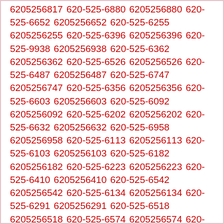6205256817 620-525-6880 6205256880 620-525-6652 6205256652 620-525-6255 6205256255 620-525-6396 6205256396 620-525-9938 6205256938 620-525-6362 6205256362 620-525-6526 6205256526 620-525-6487 6205256487 620-525-6747 6205256747 620-525-6356 6205256356 620-525-6603 6205256603 620-525-6092 6205256092 620-525-6202 6205256202 620-525-6632 6205256632 620-525-6958 6205256958 620-525-6113 6205256113 620-525-6103 6205256103 620-525-6182 6205256182 620-525-6223 6205256223 620-525-6410 6205256410 620-525-6542 6205256542 620-525-6134 6205256134 620-525-6291 6205256291 620-525-6518 6205256518 620-525-6574 6205256574 620-525-6644 6205256644 620-525-6676 6205256676 620-525-6122 6205256122 620-525-6961 6205256961 620-525-6658 6205256658 620-525-6718 6205256718 620-525-6370 6205256370 620-525-6203 6205256203 620-525-6454 6205256454 620-